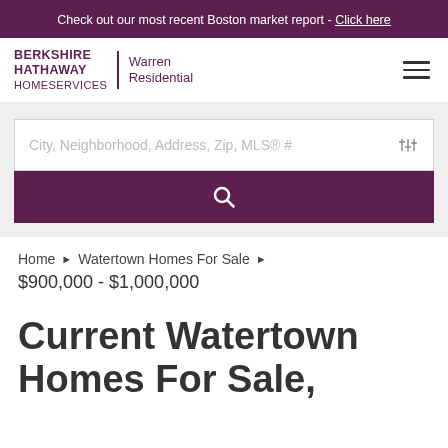Check out our most recent Boston market report - Click here
[Figure (logo): Berkshire Hathaway HomeServices | Warren Residential logo with hamburger menu icon]
City, Neighborhood, Address, Zip, MLS® #
Home › Watertown Homes For Sale › $900,000 - $1,000,000
Current Watertown Homes For Sale,